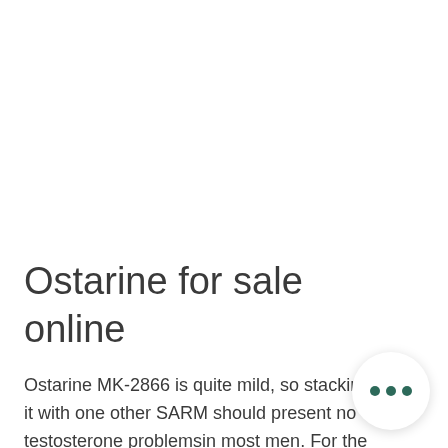Ostarine for sale online
Ostarine MK-2866 is quite mild, so stacking it with one other SARM should present no testosterone problemsin most men. For the first time, we are able to tell when the SARM is fully formed (which is not always the case). That is, we can tell whether or not there are any residual